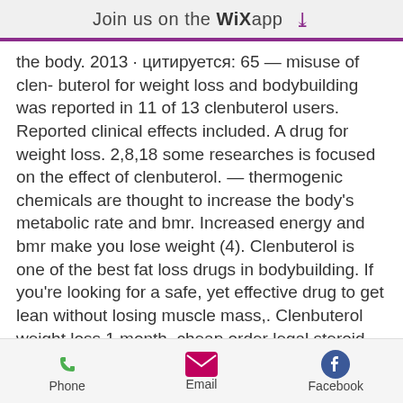Join us on the WiX app
the body. 2013 · цитируется: 65 — misuse of clen- buterol for weight loss and bodybuilding was reported in 11 of 13 clenbuterol users. Reported clinical effects included. A drug for weight loss. 2,8,18 some researches is focused on the effect of clenbuterol. — thermogenic chemicals are thought to increase the body's metabolic rate and bmr. Increased energy and bmr make you lose weight (4). Clenbuterol is one of the best fat loss drugs in bodybuilding. If you're looking for a safe, yet effective drug to get lean without losing muscle mass,. Clenbuterol weight loss 1 month, cheap order legal steroid cycle. The downside of clen: with most things there is a downside and clenbuterol hydorchloride does
Phone  Email  Facebook